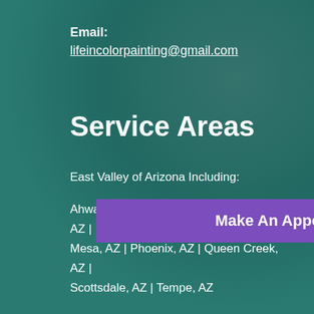Email:
lifeincolorpainting@gmail.com
Service Areas
East Valley of Arizona Including:
Ahwatukee, AZ | Chandler, AZ | Gilbert, AZ | Mesa, AZ | Phoenix, AZ | Queen Creek, AZ | Scottsdale, AZ | Tempe, AZ
Make An Appointment Online